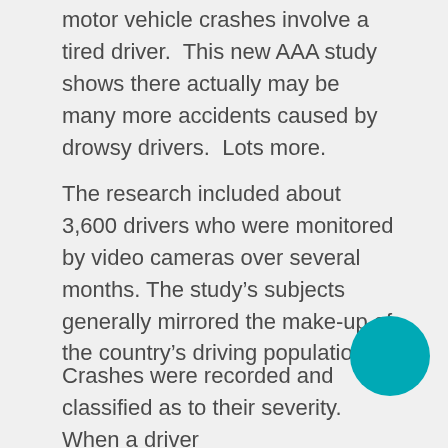motor vehicle crashes involve a tired driver.  This new AAA study shows there actually may be many more accidents caused by drowsy drivers.  Lots more.
The research included about 3,600 drivers who were monitored by video cameras over several months. The study’s subjects generally mirrored the make-up of the country’s driving population.
Crashes were recorded and classified as to their severity.  When a driver